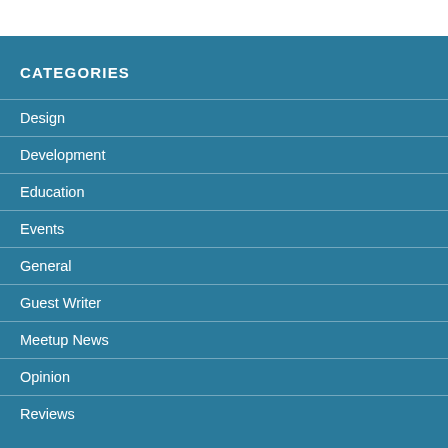CATEGORIES
Design
Development
Education
Events
General
Guest Writer
Meetup News
Opinion
Reviews